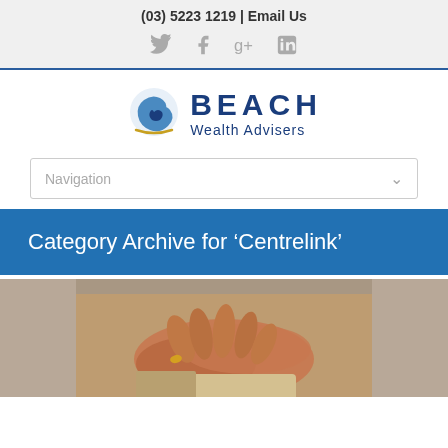(03) 5223 1219 | Email Us
[Figure (logo): Beach Wealth Advisers logo with shell graphic and social icons (Twitter, Facebook, Google+, LinkedIn)]
[Figure (logo): Beach Wealth Advisers logo with nautilus shell in blue on left and BEACH Wealth Advisers text on right]
Navigation
Category Archive for ‘Centrelink’
[Figure (photo): Close-up photo of elderly person's hands clasped together, wearing a ring, resting on lap]